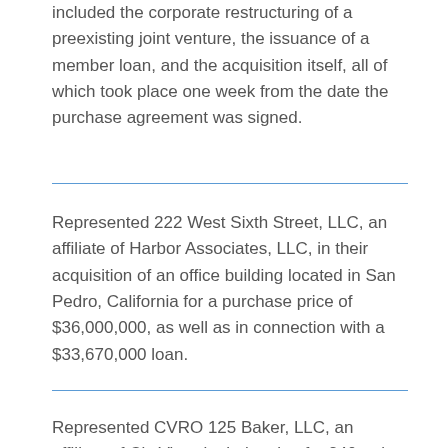included the corporate restructuring of a preexisting joint venture, the issuance of a member loan, and the acquisition itself, all of which took place one week from the date the purchase agreement was signed.
Represented 222 West Sixth Street, LLC, an affiliate of Harbor Associates, LLC, in their acquisition of an office building located in San Pedro, California for a purchase price of $36,000,000, as well as in connection with a $33,670,000 loan.
Represented CVRO 125 Baker, LLC, an affiliate of CityView, in their sale of a 240-unit apartment